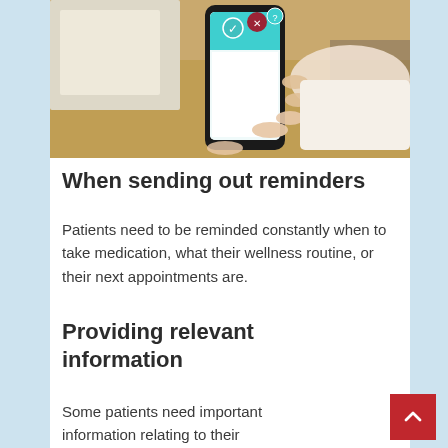[Figure (photo): A person holding a smartphone with a healthcare app showing checkmark and X icons on a teal/white interface, resting on a wooden table with papers in background.]
When sending out reminders
Patients need to be reminded constantly when to take medication, what their wellness routine, or their next appointments are.
Providing relevant information
Some patients need important information relating to their medication or signs and